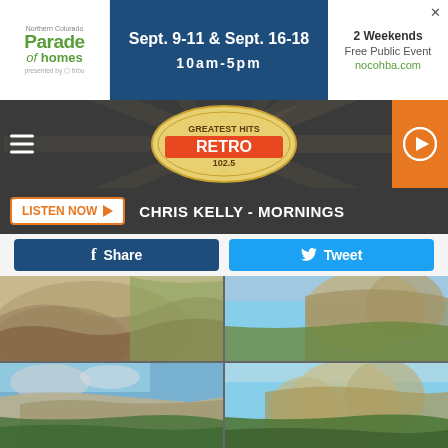[Figure (screenshot): Top advertisement banner for Northern Colorado Parade of Homes: Sept. 9-11 & Sept. 16-18, 10am-5pm, 2 Weekends, Free Public Event, nocohba.com]
[Figure (screenshot): Radio station header banner - Retro 102.5 with hamburger menu, logo, and orange play button]
LISTEN NOW ▶   CHRIS KELLY - MORNINGS
f Share   🐦 Tweet
[Figure (photo): Close-up of layered sandstone rock formation with grassy area in background]
[Figure (photo): Stacked rock formations with dry grass and blue sky]
[Figure (photo): Rock formations with green shrubs under blue sky with clouds]
[Figure (photo): Rock formations with green shrubs under clear blue sky, open grassland in background]